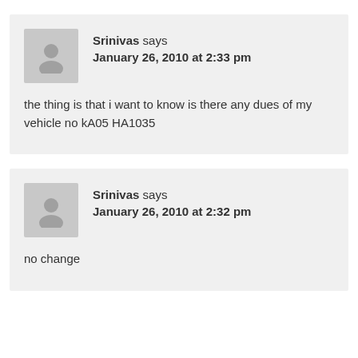Srinivas says
January 26, 2010 at 2:33 pm

the thing is that i want to know is there any dues of my vehicle no kA05 HA1035
Srinivas says
January 26, 2010 at 2:32 pm

no change